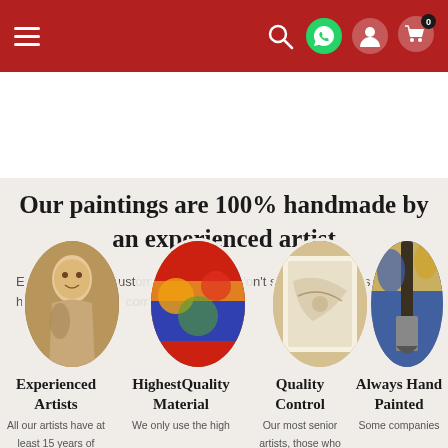Navigation bar with hamburger menu, search icon, WhatsApp icon, account icon, and cart icon (badge: 0)
Our paintings are 100% handmade by an experienced artist
Each painting is custom made and we don't ship until it meets our high quality free of compromise control.
[Figure (photo): Oval portrait of a classical painting of a young boy with animals]
[Figure (photo): Oval image of colorful abstract painting materials, red yellow blue green]
[Figure (photo): Oval image of a watercolor painting in progress]
[Figure (photo): Oval image of paint brushes and palette with blue paint]
Experienced Artists
Highest Quality Material
Quality Control
Always Hand Painted
All our artists have at least 15 years of
We only use the high
Our most senior artists, those who
Some companies